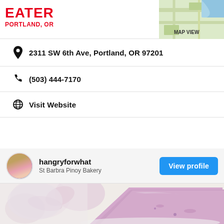EATER PORTLAND, OR
2311 SW 6th Ave, Portland, OR 97201
(503) 444-7170
Visit Website
hangryforwhat — St Barbra Pinoy Bakery — View profile
[Figure (photo): Close-up photo of a slice of purple/lavender cheesecake on a white plate, with pink magnolia flowers blurred in the background]